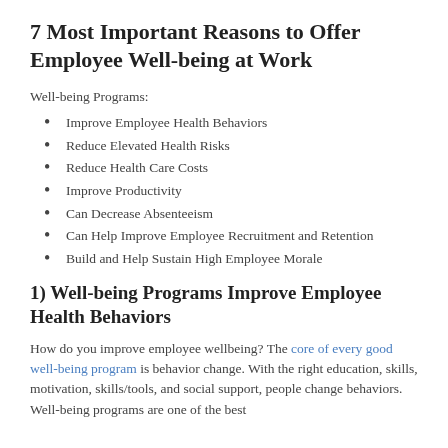7 Most Important Reasons to Offer Employee Well-being at Work
Well-being Programs:
Improve Employee Health Behaviors
Reduce Elevated Health Risks
Reduce Health Care Costs
Improve Productivity
Can Decrease Absenteeism
Can Help Improve Employee Recruitment and Retention
Build and Help Sustain High Employee Morale
1) Well-being Programs Improve Employee Health Behaviors
How do you improve employee wellbeing? The core of every good well-being program is behavior change. With the right education, skills, motivation, skills/tools, and social support, people change behaviors. Well-being programs are one of the best...